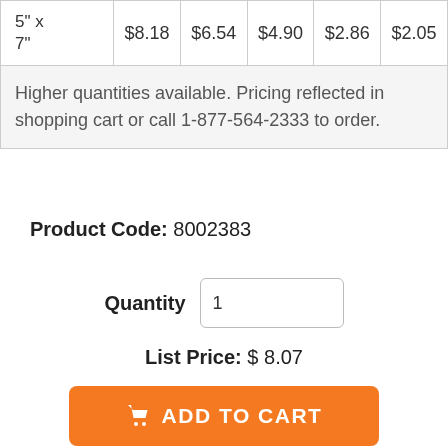|  | 1 | 2 | 3 | 4 | 5 |
| --- | --- | --- | --- | --- | --- |
| 5" x 7" | $8.18 | $6.54 | $4.90 | $2.86 | $2.05 |
| Higher quantities available. Pricing reflected in shopping cart or call 1-877-564-2333 to order. |  |  |  |  |  |
Product Code: 8002383
Quantity  1
List Price: $ 8.07
ADD TO CART
Best Selling Signs